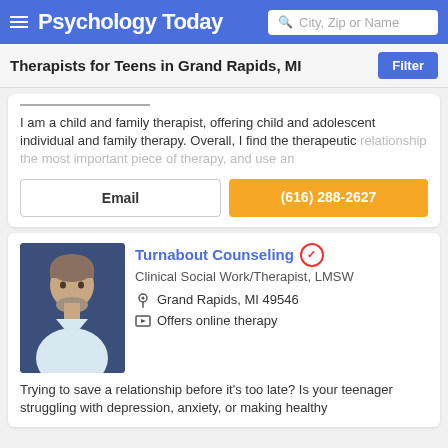Psychology Today — City, Zip or Name search
Therapists for Teens in Grand Rapids, MI
I am a child and family therapist, offering child and adolescent individual and family therapy. Overall, I find the therapeutic relationship the most important piece of therapy, and use an
Email | (616) 288-2627
Turnabout Counseling
Clinical Social Work/Therapist, LMSW
Grand Rapids, MI 49546
Offers online therapy
Trying to save a relationship before it's too late? Is your teenager struggling with depression, anxiety, or making healthy